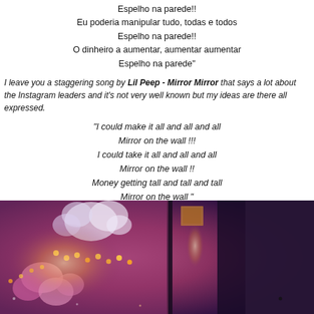Espelho na parede!!
Eu poderia manipular tudo, todas e todos
Espelho na parede!!
O dinheiro a aumentar, aumentar aumentar
Espelho na parede"
I leave you a staggering song by Lil Peep - Mirror Mirror that says a lot about the Instagram leaders and it's not very well known but my ideas are there all expressed.
"I could make it all and all and all
Mirror on the wall !!!
I could take it all and all and all
Mirror on the wall !!
Money getting tall and tall and tall
Mirror on the wall "
[Figure (photo): A photograph showing a mirror reflection with pink/purple hues, string lights, flowers, and a warm glowing light source visible in the reflection.]